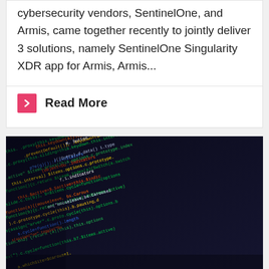cybersecurity vendors, SentinelOne, and Armis, came together recently to jointly deliver 3 solutions, namely SentinelOne Singularity XDR app for Armis, Armis...
Read More
[Figure (photo): Close-up photo of colorful programming code on a dark screen, showing JavaScript/jQuery code in green, yellow, orange, red, and white colors at an angle.]